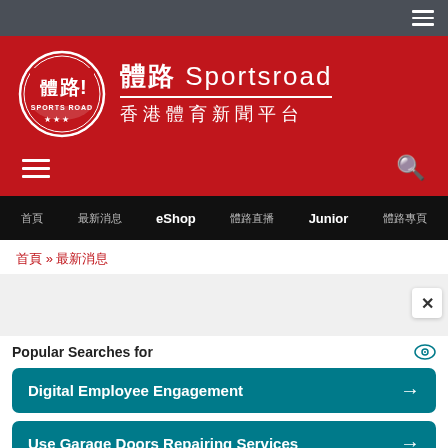[Figure (logo): Top dark navigation bar with hamburger menu icon on right]
[Figure (logo): Sportsroad Hong Kong sports news platform red header with circular logo, Chinese and English site name]
體路 Sportsroad 香港體育新聞平台
首頁  最新消息  eShop  體路直播  Junior  體路專頁
首頁 » 最新消息
[Figure (screenshot): Advertisement overlay: Popular Searches for - Digital Employee Engagement, Use Garage Doors Repairing Services. Yahoo! Search | Sponsored]